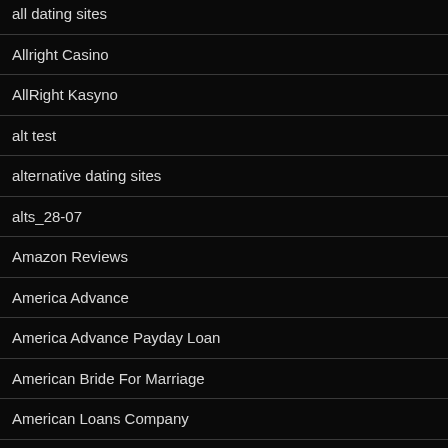all dating sites
Allright Casino
AllRight Kasyno
alt test
alternative dating sites
alts_28-07
Amazon Reviews
America Advance
America Advance Payday Loan
American Bride For Marriage
American Loans Company
American Mail Order Bride
american payday loans